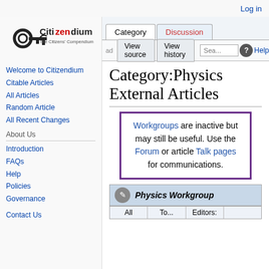Log in
[Figure (logo): Citizendium logo with key icon and text 'The Citizens' Compendium']
Welcome to Citizendium
Citable Articles
All Articles
Random Article
All Recent Changes
About Us
Introduction
FAQs
Help
Policies
Governance
Contact Us
Category:Physics External Articles
Workgroups are inactive but may still be useful. Use the Forum or article Talk pages for communications.
| All | To... | Editors: |
| --- | --- | --- |